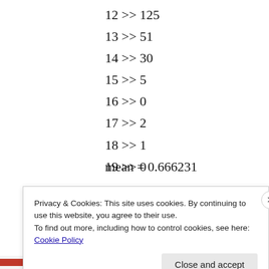12 >> 125
13 >> 51
14 >> 30
15 >> 5
16 >> 0
17 >> 2
18 >> 1
19 >> 0
mean = 0.666231
Privacy & Cookies: This site uses cookies. By continuing to use this website, you agree to their use. To find out more, including how to control cookies, see here: Cookie Policy
Close and accept